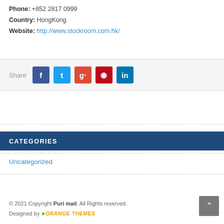Phone: +852 2817 0999
Country: HongKong
Website: http://www.stockroom.com.hk/
Share [social buttons: Facebook, Twitter, Google+, Pinterest, LinkedIn]
CATEGORIES
Uncategorized
© 2021 Copyright Puri mail. All Rights reserved. Designed by ORANGE THEMES